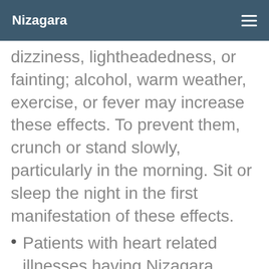Nizagara
dizziness, lightheadedness, or fainting; alcohol, warm weather, exercise, or fever may increase these effects. To prevent them, crunch or stand slowly, particularly in the morning. Sit or sleep the night in the first manifestation of these effects.
Patients with heart related illnesses having Nizagara might be at increased risk for heart-related side effects, including cardiac event or stroke.